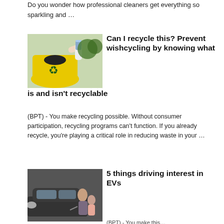Do you wonder how professional cleaners get everything so sparkling and …
[Figure (photo): Hand inserting a can into a yellow recycling bin with recycling symbol]
Can I recycle this? Prevent wishcycling by knowing what is and isn't recyclable
(BPT) - You make recycling possible. Without consumer participation, recycling programs can't function. If you already recycle, you're playing a critical role in reducing waste in your …
[Figure (photo): Woman and child near an electric vehicle, charging or inspecting it]
5 things driving interest in EVs
(BPT) - You make this…